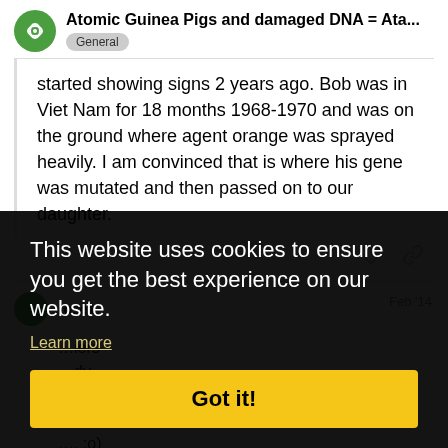Atomic Guinea Pigs and damaged DNA = Ata... General
started showing signs 2 years ago. Bob was in Viet Nam for 18 months 1968-1970 and was on the ground where agent orange was sprayed heavily. I am convinced that is where his gene was mutated and then passed on to our daughter.
rose1 Feb '14
This website uses cookies to ensure you get the best experience on our website. Learn more
Got it!